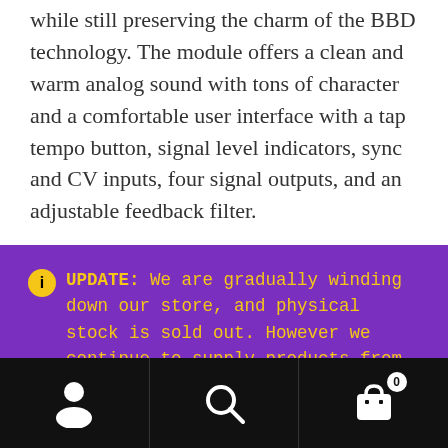while still preserving the charm of the BBD technology. The module offers a clean and warm analog sound with tons of character and a comfortable user interface with a tap tempo button, signal level indicators, sync and CV inputs, four signal outputs, and an adjustable feedback filter.
UPDATE: We are gradually winding down our store, and physical stock is sold out. However we continue to supply products from all remaining brands on our site, as these ship directly from the UK distributors when orders are received. Full 12 month warranty still applies for all such orders.
Dismiss
Navigation bar with user, search, and cart icons